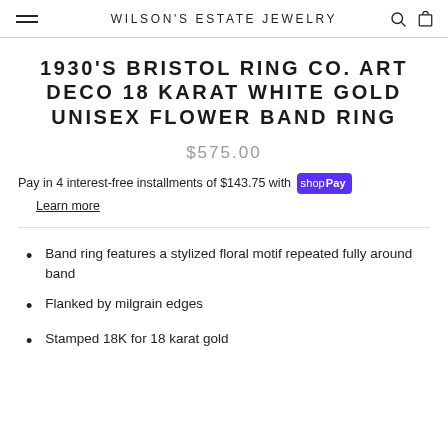WILSON'S ESTATE JEWELRY
1930'S BRISTOL RING CO. ART DECO 18 KARAT WHITE GOLD UNISEX FLOWER BAND RING
$575.00
Pay in 4 interest-free installments of $143.75 with shop Pay
Learn more
Band ring features a stylized floral motif repeated fully around band
Flanked by milgrain edges
Stamped 18K for 18 karat gold